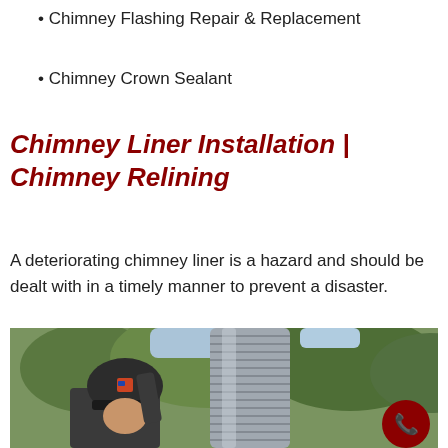• Chimney Flashing Repair & Replacement
• Chimney Crown Sealant
Chimney Liner Installation | Chimney Relining
A deteriorating chimney liner is a hazard and should be dealt with in a timely manner to prevent a disaster.
[Figure (photo): A worker wearing a dark cap with a logo, handling a flexible metal chimney liner duct outdoors with trees in the background. A red phone button is overlaid in the bottom right corner.]